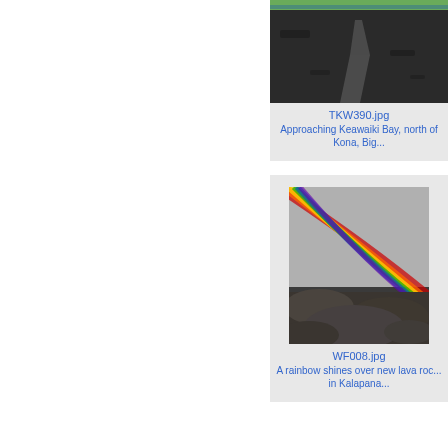[Figure (photo): Lava field with a path, coastal area near Keawaiki Bay, north of Kona, Big Island Hawaii]
TKW390.jpg
Approaching Keawaiki Bay, north of Kona, Big...
[Figure (photo): Rainbow shines over new lava rocks in Kalapana, Hawaii]
WF008.jpg
A rainbow shines over new lava roc... in Kalapana...